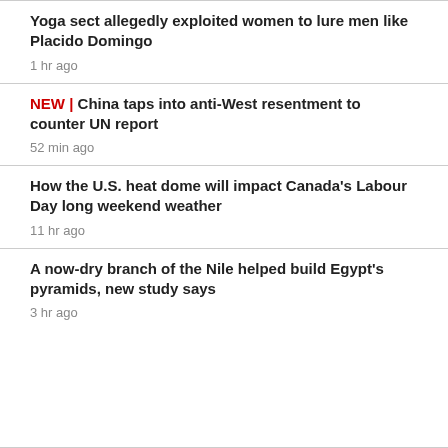Yoga sect allegedly exploited women to lure men like Placido Domingo
1 hr ago
NEW | China taps into anti-West resentment to counter UN report
52 min ago
How the U.S. heat dome will impact Canada's Labour Day long weekend weather
11 hr ago
A now-dry branch of the Nile helped build Egypt's pyramids, new study says
3 hr ago